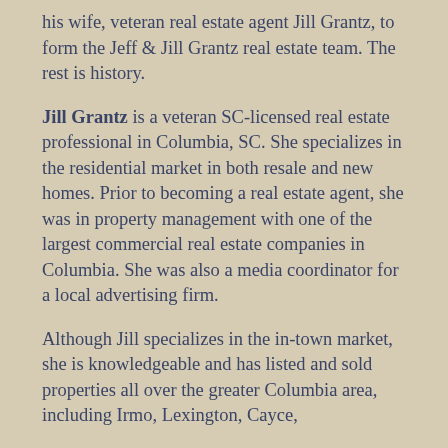his wife, veteran real estate agent Jill Grantz, to form the Jeff & Jill Grantz real estate team. The rest is history.
Jill Grantz is a veteran SC-licensed real estate professional in Columbia, SC. She specializes in the residential market in both resale and new homes. Prior to becoming a real estate agent, she was in property management with one of the largest commercial real estate companies in Columbia. She was also a media coordinator for a local advertising firm.
Although Jill specializes in the in-town market, she is knowledgeable and has listed and sold properties all over the greater Columbia area, including Irmo, Lexington, Cayce,